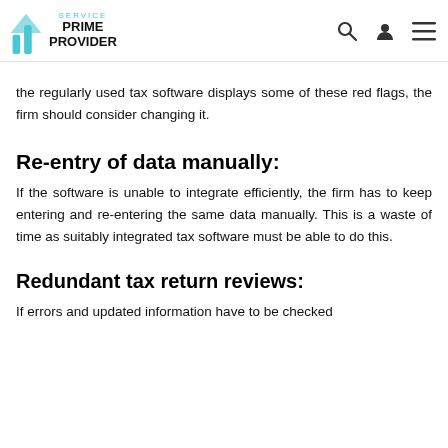PRIME SERVICE PROVIDER
the regularly used tax software displays some of these red flags, the firm should consider changing it.
Re-entry of data manually:
If the software is unable to integrate efficiently, the firm has to keep entering and re-entering the same data manually. This is a waste of time as suitably integrated tax software must be able to do this.
Redundant tax return reviews:
If errors and updated information have to be checked